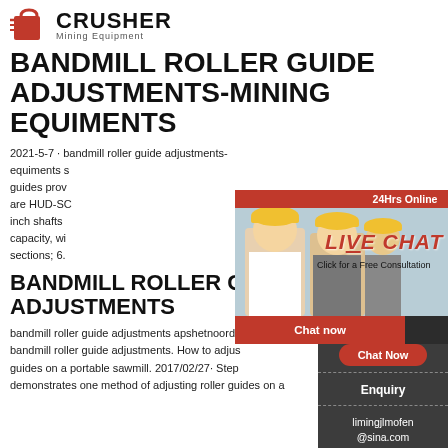[Figure (logo): Crusher Mining Equipment logo with red shopping bag icon and bold CRUSHER text]
BANDMILL ROLLER GUIDE ADJUSTMENTS-MINING EQUIMENTS
2021-5-7 · bandmill roller guide adjustments-mining equiments guides prov are HUD-SC inch shafts capacity, wi sections; 6.
[Figure (screenshot): Live chat popup overlay with workers in hard hats, LIVE CHAT heading in red, Click for a Free Consultation subtext, Chat now and Chat later buttons]
BANDMILL ROLLER GUIDE ADJUSTMENTS
bandmill roller guide adjustments apshetnoorde- bandmill roller guide adjustments. How to adju guides on a portable sawmill. 2017/02/27· Ste demonstrates one method of adjusting roller guides on a